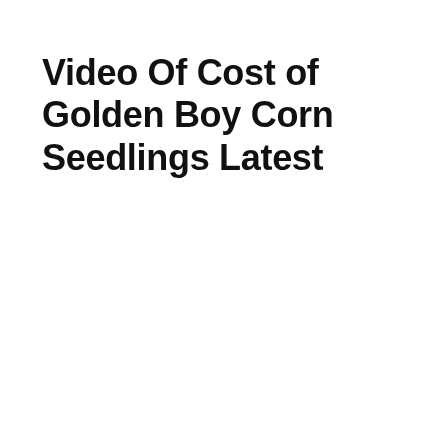Video Of Cost of Golden Boy Corn Seedlings Latest